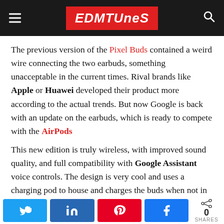EDMTunes
The previous version of the Pixel Buds contained a weird wire connecting the two earbuds, something unacceptable in the current times. Rival brands like Apple or Huawei developed their product more according to the actual trends. But now Google is back with an update on the earbuds, which is ready to compete with the AirPods
This new edition is truly wireless, with improved sound quality, and full compatibility with Google Assistant voice controls. The design is very cool and uses a charging pod to house and charges the buds when not in use. The connectivity of these buds are something that Google puts a lot of effort into. They
0 SHARES